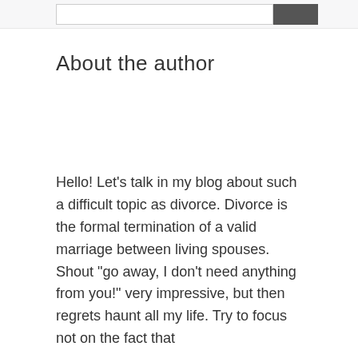About the author
Hello! Let’s talk in my blog about such a difficult topic as divorce. Divorce is the formal termination of a valid marriage between living spouses. Shout “go away, I don’t need anything from you!” very impressive, but then regrets haunt all my life. Try to focus not on the fact that